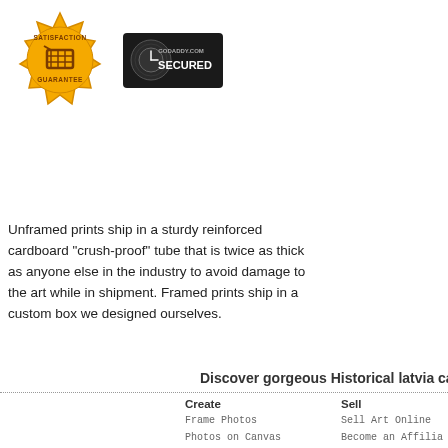[Figure (logo): Satisfaction Guarantee gold seal badge with shopping cart icon]
[Figure (logo): GoDaddy.com Secured badge with globe/lock icon]
Unframed prints ship in a sturdy reinforced cardboard "crush-proof" tube that is twice as thick as anyone else in the industry to avoid damage to the art while in shipment. Framed prints ship in a custom box we designed ourselves.
Discover gorgeous Historical latvia canvas p
Create
Frame Photos
Photos on Canvas
Sell
Sell Art Online
Become an Affilia
Get a Trade Accou
Common Questio
Terms of Service
Privacy Policy
Copyright © 2022